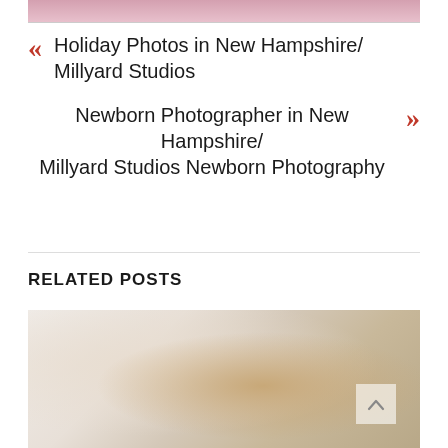[Figure (photo): Top cropped portion of a photo, showing a pink fluffy textured background]
« Holiday Photos in New Hampshire/ Millyard Studios
Newborn Photographer in New Hampshire/ Millyard Studios Newborn Photography »
RELATED POSTS
[Figure (photo): Photo of a newborn baby with a yellow/gold floral headband, lying on a white lace/knit blanket, viewed from above]